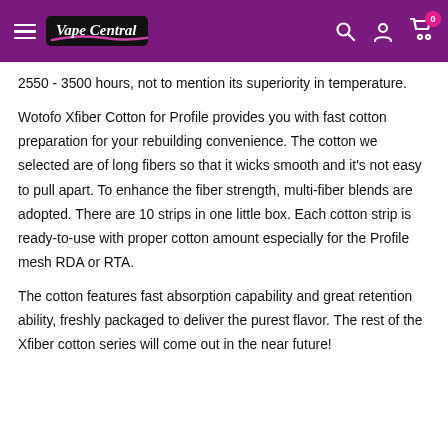Vape Central — navigation header with search, account, and cart icons
2550 - 3500 hours, not to mention its superiority in temperature.
Wotofo Xfiber Cotton for Profile provides you with fast cotton preparation for your rebuilding convenience. The cotton we selected are of long fibers so that it wicks smooth and it's not easy to pull apart. To enhance the fiber strength, multi-fiber blends are adopted. There are 10 strips in one little box. Each cotton strip is ready-to-use with proper cotton amount especially for the Profile mesh RDA or RTA.
The cotton features fast absorption capability and great retention ability, freshly packaged to deliver the purest flavor. The rest of the Xfiber cotton series will come out in the near future!